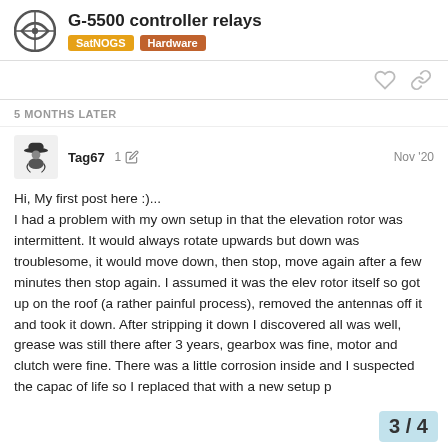G-5500 controller relays — SatNOGS | Hardware
5 MONTHS LATER
Tag67   1 ✏  Nov '20
Hi, My first post here :)...
I had a problem with my own setup in that the elevation rotor was intermittent. It would always rotate upwards but down was troublesome, it would move down, then stop, move again after a few minutes then stop again. I assumed it was the elev rotor itself so got up on the roof (a rather painful process), removed the antennas off it and took it down. After stripping it down I discovered all was well, grease was still there after 3 years, gearbox was fine, motor and clutch were fine. There was a little corrosion inside and I suspected the capac... of life so I replaced that with a new setup p...
3 / 4